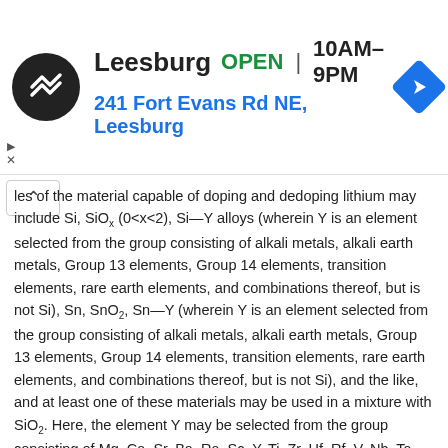[Figure (screenshot): Advertisement banner for a store location: logo (black circle with double arrow icon), store name 'Leesburg', status 'OPEN', hours '10AM–9PM', address '241 Fort Evans Rd NE, Leesburg', navigation icon (blue diamond with right-turn arrow). Ad controls (triangle and X) visible on left side.]
les of the material capable of doping and dedoping lithium may include Si, SiOx (0<x<2), Si—Y alloys (wherein Y is an element selected from the group consisting of alkali metals, alkali earth metals, Group 13 elements, Group 14 elements, transition elements, rare earth elements, and combinations thereof, but is not Si), Sn, SnO2, Sn—Y (wherein Y is an element selected from the group consisting of alkali metals, alkali earth metals, Group 13 elements, Group 14 elements, transition elements, rare earth elements, and combinations thereof, but is not Si), and the like, and at least one of these materials may be used in a mixture with SiO2. Here, the element Y may be selected from the group consisting of Mg, Ca, Sr, Ba, Ra, Sc, Y, Ti, Zr, Hf, Rf, V, Nb, Ta, Db, Cr, Mo, W, Sg, Tc, Re, Bh, Fe, Pb, Ru, Os, Hs, Rh, Ir, Pd, Pt, Cu, Ag, Au, Zn, Cd, B, Al, Ga, Sn, In, Ti, Ge, P, As, Sb, Bi, S, Se, Te, Po, and combinations thereof.
Examples of the transition metal oxide may include vanadium oxides, lithium-vanadium oxides, and the like.
The negative electrode active material layer also contains a binder, and may further optionally contain a conductor.